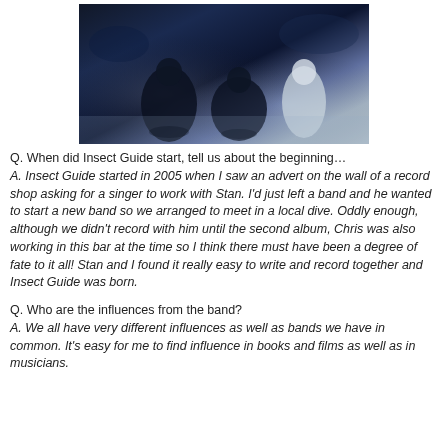[Figure (photo): Band photo of Insect Guide members posed on a reflective surface, dark blue/moody tones, three or four figures in artistic clothing]
Q. When did Insect Guide start, tell us about the beginning… A. Insect Guide started in 2005 when I saw an advert on the wall of a record shop asking for a singer to work with Stan. I'd just left a band and he wanted to start a new band so we arranged to meet in a local dive. Oddly enough, although we didn't record with him until the second album, Chris was also working in this bar at the time so I think there must have been a degree of fate to it all! Stan and I found it really easy to write and record together and Insect Guide was born.
Q. Who are the influences from the band? A. We all have very different influences as well as bands we have in common. It's easy for me to find influence in books and films as well as in musicians.